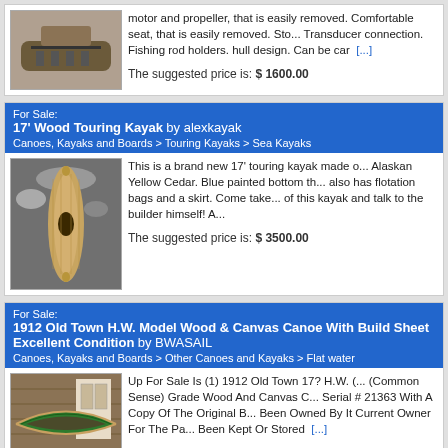[Figure (photo): Photo of a fishing boat/kayak with motor, seat and equipment on indoor floor]
motor and propeller, that is easily removed. Comfortable seat, that is easily removed. Sto... Transducer connection. Fishing rod holders. hull design. Can be car [...]
The suggested price is: $ 1600.00
For Sale: 17' Wood Touring Kayak by alexkayak
Canoes, Kayaks and Boards > Touring Kayaks > Sea Kayaks
[Figure (photo): Aerial/top-down photo of a wooden touring kayak on gravel/rocks]
This is a brand new 17' touring kayak made o... Alaskan Yellow Cedar. Blue painted bottom th... also has flotation bags and a skirt. Come take... of this kayak and talk to the builder himself! A...
The suggested price is: $ 3500.00
For Sale: 1912 Old Town H.W. Model Wood & Canvas Canoe With Build Sheet Excellent Condition by BWASAIL
Canoes, Kayaks and Boards > Other Canoes and Kayaks > Flat water
[Figure (photo): Photo of a green wooden canvas canoe stored in what appears to be a garage or shed]
Up For Sale Is (1) 1912 Old Town 17? H.W. (... (Common Sense) Grade Wood And Canvas C... Serial # 21363 With A Copy Of The Original B... Been Owned By It Current Owner For The Pa... Been Kept Or Stored [...]